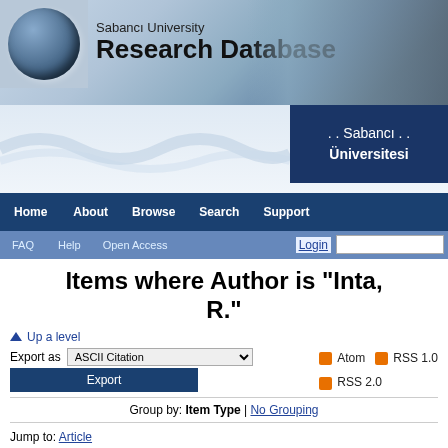[Figure (logo): Sabanci University Research Database banner with globe icon and university building photo]
[Figure (logo): Sabanci Universitesi blue logo box]
Home  About  Browse  Search  Support
FAQ  Help  Open Access  Login
Items where Author is "Inta, R."
Up a level
Export as ASCII Citation  Export
Atom  RSS 1.0  RSS 2.0
Group by: Item Type | No Grouping
Jump to: Article